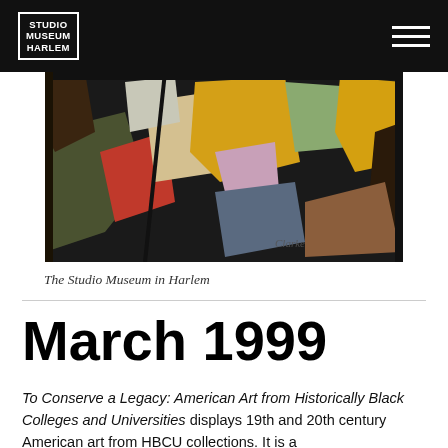Studio Museum Harlem
[Figure (photo): Abstract painting with colorful geometric shapes in yellow, red, green, blue, and earth tones on dark background, signed 'Clarke']
The Studio Museum in Harlem
March 1999
To Conserve a Legacy: American Art from Historically Black Colleges and Universities displays 19th and 20th century American art from HBCU collections. It is a...